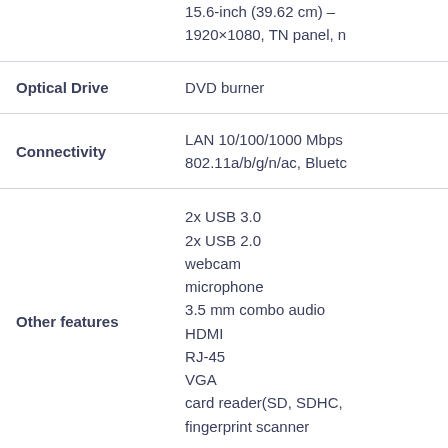| Feature | Value |
| --- | --- |
|  | 15.6-inch (39.62 cm) - 1920×1080, TN panel, n |
| Optical Drive | DVD burner |
| Connectivity | LAN 10/100/1000 Mbps 802.11a/b/g/n/ac, Bluetc |
| Other features | 2x USB 3.0
2x USB 2.0
webcam
microphone
3.5 mm combo audio
HDMI
RJ-45
VGA
card reader(SD, SDHC,
fingerprint scanner |